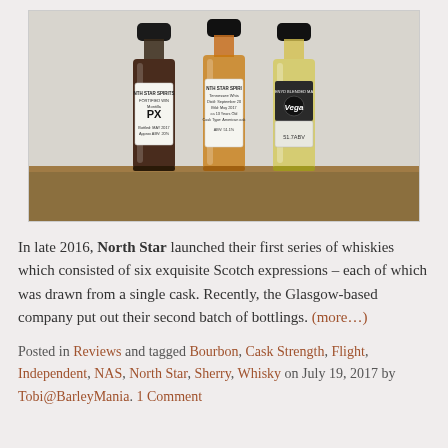[Figure (photo): Three small sample bottles of spirits lined up on a wooden surface. Left bottle has a dark liquid (PX Fortified Wine) with a white label reading North Star Spirits Fortified Wine Montilla PX. Middle bottle has an amber liquid (Tennessee Whisky) with a white label reading North Star Spirits Tennessee Whisky. Right bottle has a pale yellow liquid with a dark label reading Enyd Blended Malt Vega 51.7 ABV.]
In late 2016, North Star launched their first series of whiskies which consisted of six exquisite Scotch expressions – each of which was drawn from a single cask. Recently, the Glasgow-based company put out their second batch of bottlings. (more…)
Posted in Reviews and tagged Bourbon, Cask Strength, Flight, Independent, NAS, North Star, Sherry, Whisky on July 19, 2017 by Tobi@BarleyMania. 1 Comment